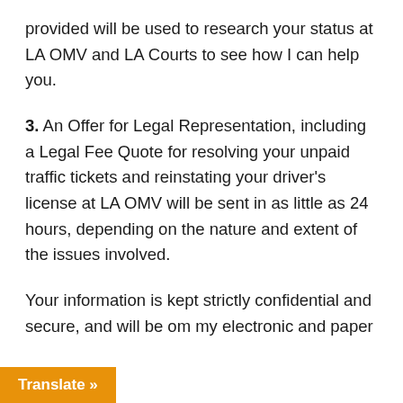provided will be used to research your status at LA OMV and LA Courts to see how I can help you.
3.  An Offer for Legal Representation, including a Legal Fee Quote for resolving your unpaid traffic tickets and reinstating your driver's license at LA OMV will be sent in as little as 24 hours, depending on the nature and extent of the issues involved.
Your information is kept strictly confidential and secure, and will be [deleted] from my electronic and paper [records].